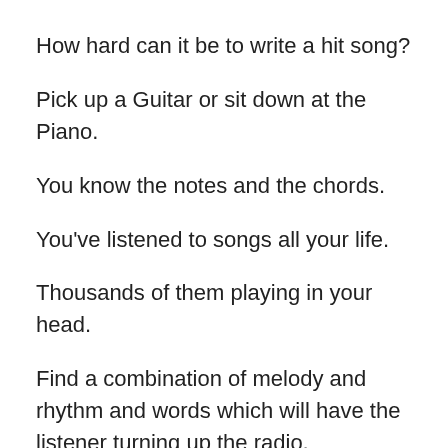How hard can it be to write a hit song?
Pick up a Guitar or sit down at the Piano.
You know the notes and the chords.
You've listened to songs all your life.
Thousands of them playing in your head.
Find a combination of melody and rhythm and words which will have the listener turning up the radio, memorising the name of the song and opening their wallet.
But, nobody, nobody, can guarantee they know what the magic combination is.
Every songwriter, every time, has to take on the persona of a safe cracker turning the tumblers hyper alert to the tell